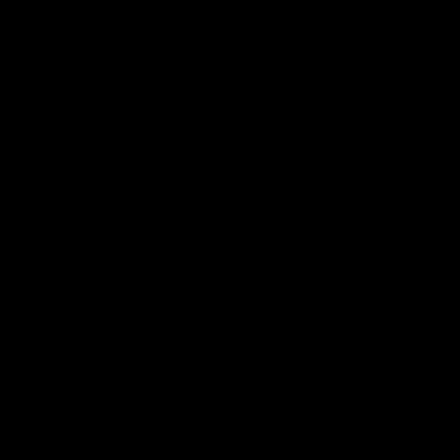[Figure (photo): Completely black image with no discernible content visible.]